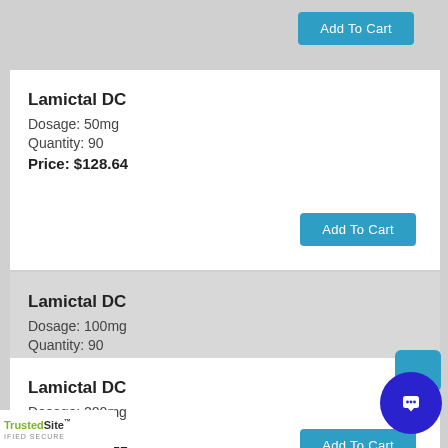Add To Cart (top, partial card)
Lamictal DC
Dosage: 50mg
Quantity: 90
Price: $128.64
Add To Cart
Lamictal DC
Dosage: 100mg
Quantity: 90
Price: $128.70
Add To Cart
Lamictal DC
Dosage: 200mg
Quantity: 90
Price: $321.75
Add To Cart
TrustedSite CERTIFIED SECURE